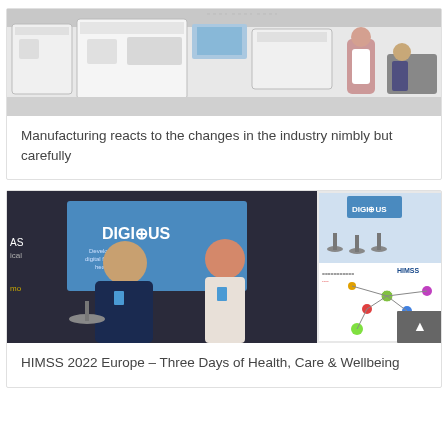[Figure (photo): Aerial view of a manufacturing facility with white industrial machines and workers in lab coats at workstations]
Manufacturing reacts to the changes in the industry nimbly but carefully
[Figure (photo): Collage of HIMSS 2022 Europe conference photos showing two people at a DIGIOUS booth, exhibition stands, and a colorful mind-map diagram with HIMSS branding]
HIMSS 2022 Europe – Three Days of Health, Care & Wellbeing